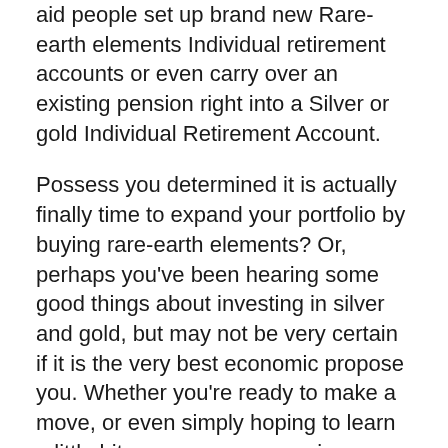aid people set up brand new Rare-earth elements Individual retirement accounts or even carry over an existing pension right into a Silver or gold Individual Retirement Account.
Possess you determined it is actually finally time to expand your portfolio by buying rare-earth elements? Or, perhaps you've been hearing some good things about investing in silver and gold, but may not be very certain if it is the very best economic propose you. Whether you're ready to make a move, or even simply hoping to learn a little bit even more concerning investing in precious metals, you'll desire to take a look at Augusta Valuable Metals.